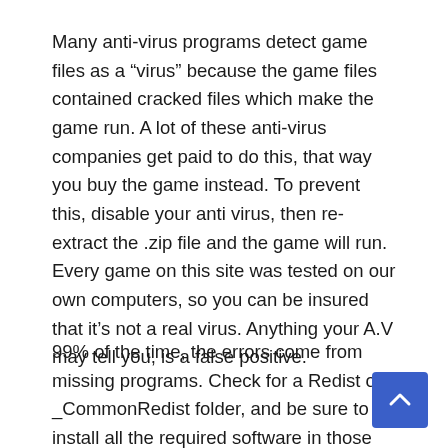Many anti-virus programs detect game files as a “virus” because the game files contained cracked files which make the game run. A lot of these anti-virus companies get paid to do this, that way you buy the game instead. To prevent this, disable your anti virus, then re-extract the .zip file and the game will run. Every game on this site was tested on our own computers, so you can be insured that it’s not a real virus. Anything your A.V may tell you, is a false positive.
99% of the time, the errors come from missing programs. Check for a Redist or _CommonRedist folder, and be sure to install all the required software in those folders: DirectX, vcredist, DotNet, etc.